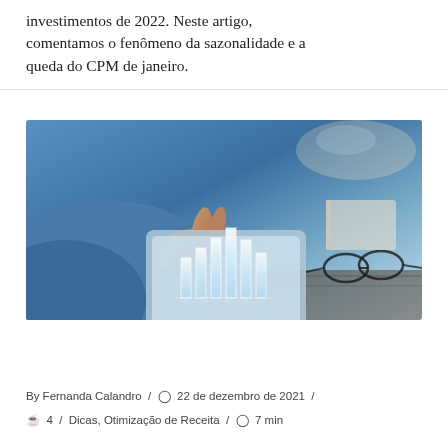investimentos de 2022. Neste artigo, comentamos o fenômeno da sazonalidade e a queda do CPM de janeiro.
[Figure (photo): Person touching a tablet device displaying holographic 3D bar charts rising from the screen, with glasses resting on a wooden table in the background. Blue-toned business/technology image.]
By Fernanda Calandro / 22 de dezembro de 2021 / 4 / Dicas, Otimização de Receita / 7 min